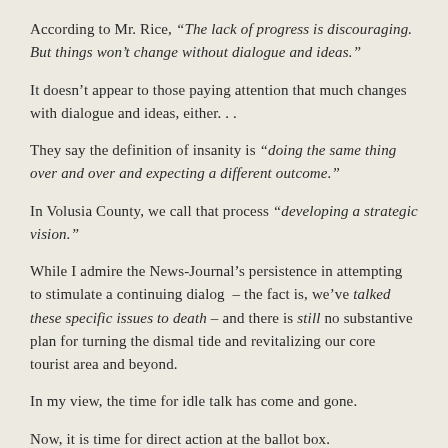According to Mr. Rice, “The lack of progress is discouraging. But things won’t change without dialogue and ideas.”
It doesn’t appear to those paying attention that much changes with dialogue and ideas, either. . .
They say the definition of insanity is “doing the same thing over and over and expecting a different outcome.”
In Volusia County, we call that process “developing a strategic vision.”
While I admire the News-Journal’s persistence in attempting to stimulate a continuing dialog – the fact is, we’ve talked these specific issues to death – and there is still no substantive plan for turning the dismal tide and revitalizing our core tourist area and beyond.
In my view, the time for idle talk has come and gone.
Now, it is time for direct action at the ballot box.